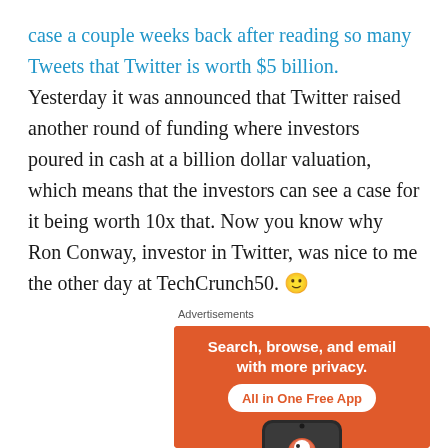case a couple weeks back after reading so many Tweets that Twitter is worth $5 billion. Yesterday it was announced that Twitter raised another round of funding where investors poured in cash at a billion dollar valuation, which means that the investors can see a case for it being worth 10x that. Now you know why Ron Conway, investor in Twitter, was nice to me the other day at TechCrunch50. 🙂
Advertisements
[Figure (illustration): Advertisement for DuckDuckGo browser app on orange background. Text reads 'Search, browse, and email with more privacy. All in One Free App' with a phone showing the DuckDuckGo duck logo.]